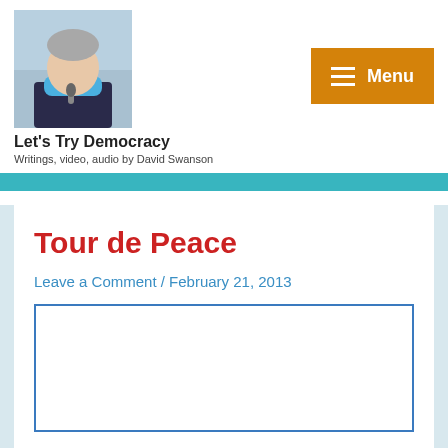[Figure (photo): Photo of a man with grey hair speaking into a microphone outdoors, wearing a blue scarf and dark jacket]
Let's Try Democracy
Writings, video, audio by David Swanson
[Figure (other): Orange menu button with hamburger icon and 'Menu' text]
Tour de Peace
Leave a Comment / February 21, 2013
[Figure (other): Embedded video or media placeholder box with blue border]